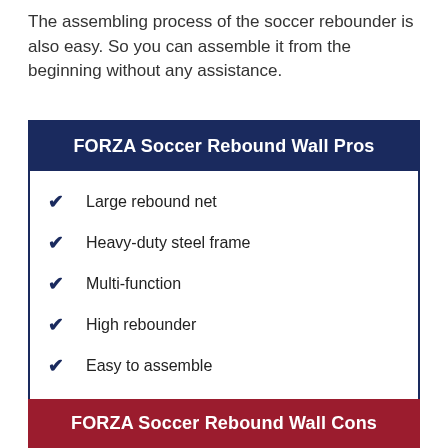The assembling process of the soccer rebounder is also easy. So you can assemble it from the beginning without any assistance.
FORZA Soccer Rebound Wall Pros
Large rebound net
Heavy-duty steel frame
Multi-function
High rebounder
Easy to assemble
FORZA Soccer Rebound Wall Cons